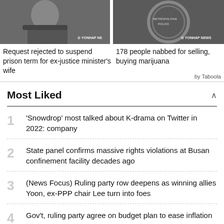[Figure (photo): Photo of a woman in a dark blazer with Yonhap News watermark]
Request rejected to suspend prison term for ex-justice minister's wife
[Figure (photo): Photo of Metropolitan Police sign with Yonhap News watermark]
178 people nabbed for selling, buying marijuana
by Taboola
Most Liked
'Snowdrop' most talked about K-drama on Twitter in 2022: company
State panel confirms massive rights violations at Busan confinement facility decades ago
(News Focus) Ruling party row deepens as winning allies Yoon, ex-PPP chair Lee turn into foes
Gov't, ruling party agree on budget plan to ease inflation woes
Main opposition DP to elect ex-presidential candidate Lee as